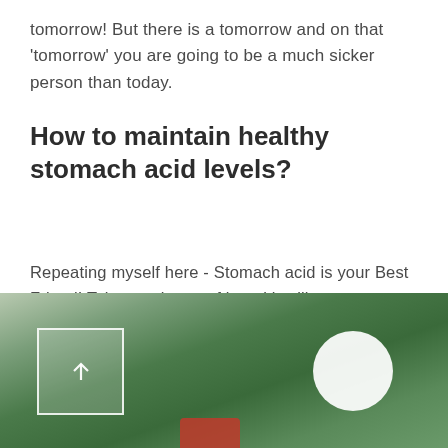tomorrow! But there is a tomorrow and on that 'tomorrow' you are going to be a much sicker person than today.
How to maintain healthy stomach acid levels?
Repeating myself here - Stomach acid is your Best Friend! Take good care of it and it will save you from developing health complications, by killing harmful bacteria in the food and breaking down food well using enzymes. Here's how you can maintain healthy stomach acid levels -
[Figure (photo): Aerial/bird's eye view photo of a green forested landscape, with a white square box with an upward arrow icon on the left side, and a white circle on the right side, and a partial red object at the bottom center.]